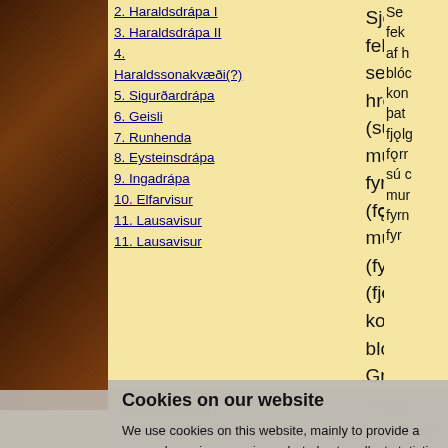2. Haraldsdrápa I
3. Haraldsdrápa II
4. Haraldssonakvæði(?)
5. Sigurðardrápa
6. Geisli
7. Runhenda
8. Eysteinsdrápa
9. Ingadrápa
10. Elfarvisur
11. Lausavisur
11. Lausavisur
Sjón fekk seggr af hreinu (sú dýrð munat fyrðum) (fǫrnuðr mun þat) (fyrnask) (fjǫlgóðr) konungs blóði. Greitt má gumnum létta guðs ríðari stríðum rǫskr þiggr allt, sem œskir, Óláfr af gram sólar.
12. Øxarflokkr(?)
12. Ubestemmelige vers, tilhørende forskellige fyrstedigte
Cookies on our website
We use cookies on this website, mainly to provide a secure browsing experience but also to collect statistics on how the website is used. You can find out more about the cookies we set, the information we store and how we use it on the cookies page.
Continue